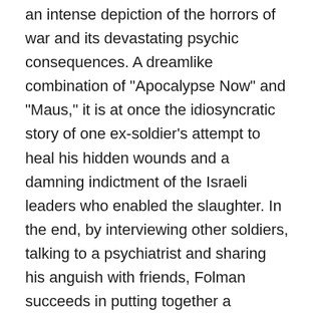an intense depiction of the horrors of war and its devastating psychic consequences. A dreamlike combination of "Apocalypse Now" and "Maus," it is at once the idiosyncratic story of one ex-soldier's attempt to heal his hidden wounds and a damning indictment of the Israeli leaders who enabled the slaughter. In the end, by interviewing other soldiers, talking to a psychiatrist and sharing his anguish with friends, Folman succeeds in putting together a fragmentary picture of the terrible events he witnessed and had blocked out for so long. Whether he himself gains any catharsis from his quest is not clear, for at the very end of the film he abruptly abandons both his personal narrative and his animated technique and simply shows filmed images of the slaughtered Palestinians